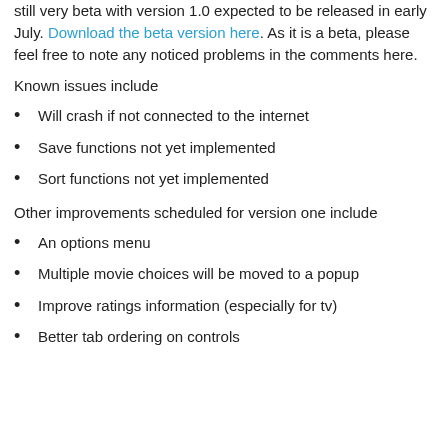still very beta with version 1.0 expected to be released in early July. Download the beta version here. As it is a beta, please feel free to note any noticed problems in the comments here.
Known issues include
Will crash if not connected to the internet
Save functions not yet implemented
Sort functions not yet implemented
Other improvements scheduled for version one include
An options menu
Multiple movie choices will be moved to a popup
Improve ratings information (especially for tv)
Better tab ordering on controls